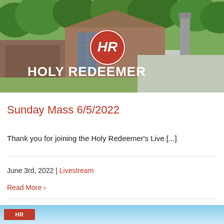[Figure (photo): Aerial photo of Holy Redeemer church building with brick facade, large windows, bell tower, and surrounding trees and parking lot. The Holy Redeemer logo (stylized HR in a red circle) and white text 'HOLY REDEEMER' are overlaid on the image.]
Sunday Mass 6/5/2022
Thank you for joining the Holy Redeemer's Live [...]
June 3rd, 2022 | Livestream
Read More ›
[Figure (photo): Bottom banner showing a sky background with a red label element visible at the left edge, partially cut off.]